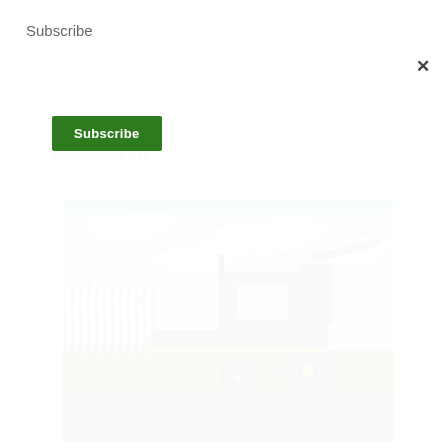Subscribe
Subscribe
environmental fees.
[Figure (photo): A green John Deere combine harvester harvesting corn in a field under a partly cloudy blue sky.]